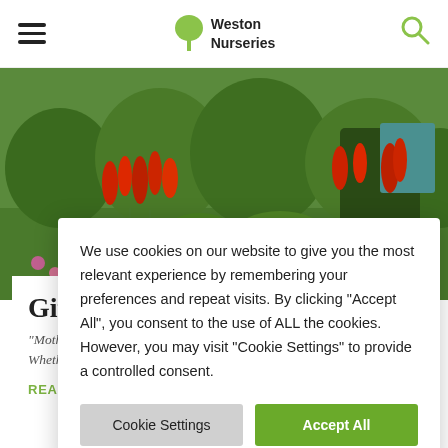Weston Nurseries
[Figure (photo): Garden photo showing red flowering plants (salvia) with lush green foliage and grass in the background]
Gifts fo...
“Mothers a... Whether M...
READ MORE
We use cookies on our website to give you the most relevant experience by remembering your preferences and repeat visits. By clicking “Accept All”, you consent to the use of ALL the cookies. However, you may visit "Cookie Settings" to provide a controlled consent.
Cookie Settings
Accept All